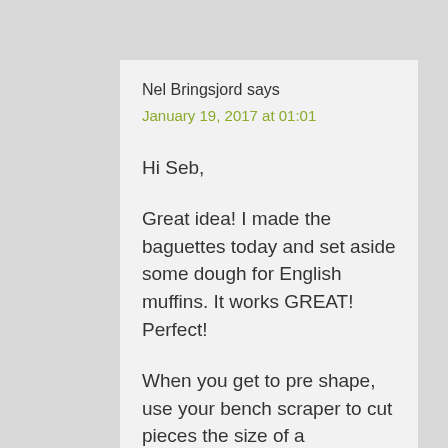Nel Bringsjord says
January 19, 2017 at 01:01
Hi Seb,
Great idea! I made the baguettes today and set aside some dough for English muffins. It works GREAT! Perfect!
When you get to pre shape, use your bench scraper to cut pieces the size of a Clementine tangerine. Let rest Flatten to shape using cornmeal on both sides to keep from sticking and let proof. Bake on top of stove in a cast iron pan, slightly greased. I used lard, it gave it a